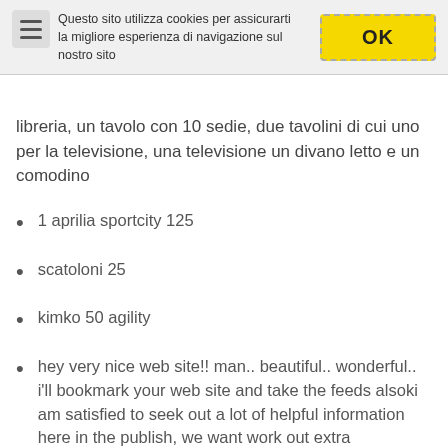Questo sito utilizza cookies per assicurarti la migliore esperienza di navigazione sul nostro sito
libreria, un tavolo con 10 sedie, due tavolini di cui uno per la televisione, una televisione un divano letto e un comodino
1 aprilia sportcity 125
scatoloni 25
kimko 50 agility
hey very nice web site!! man.. beautiful.. wonderful.. i'll bookmark your web site and take the feeds alsoki am satisfied to seek out a lot of helpful information here in the publish, we want work out extra techniques in this regard, thank you for sharing ebdddcbeeddde hey very nice web site!! man.. beautiful.. wonderful.. i'll bookmark your web site and take the feeds alsoki am satisfied to seek out a lot of helpful information here in the publish, we want work out extra